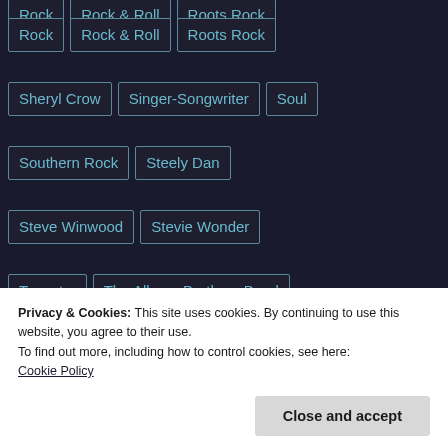Rock
Rock & Roll
Roots Rock
Sheryl Crow
Singer-Songwriter
Soul
Southern Rock
Steely Dan
Steve Winwood
Stevie Wonder
Tapestry
The Allman Brothers Band
The Beatles
The Byrds
The Rolling Stones
The Who
Tom Petty
Privacy & Cookies: This site uses cookies. By continuing to use this website, you agree to their use.
To find out more, including how to control cookies, see here:
Cookie Policy
Close and accept